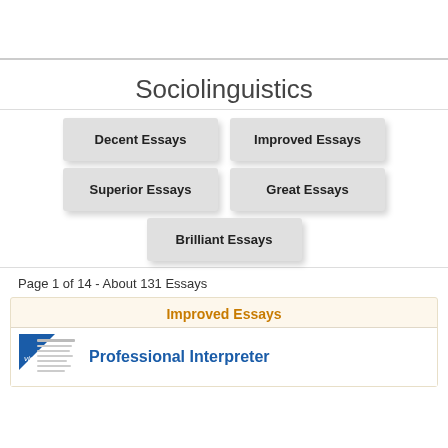Sociolinguistics
Decent Essays
Improved Essays
Superior Essays
Great Essays
Brilliant Essays
Page 1 of 14 - About 131 Essays
Improved Essays
Professional Interpreter